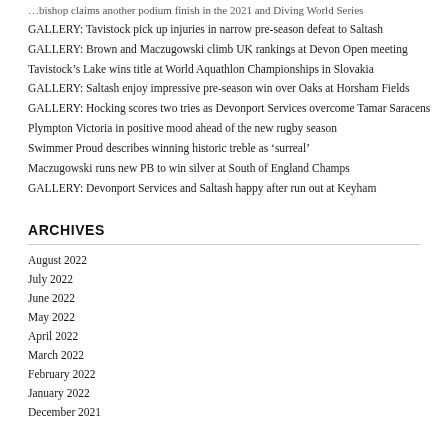GALLERY: Tavistock pick up injuries in narrow pre-season defeat to Saltash
GALLERY: Brown and Maczugowski climb UK rankings at Devon Open meeting
Tavistock’s Lake wins title at World Aquathlon Championships in Slovakia
GALLERY: Saltash enjoy impressive pre-season win over Oaks at Horsham Fields
GALLERY: Hocking scores two tries as Devonport Services overcome Tamar Saracens
Plympton Victoria in positive mood ahead of the new rugby season
Swimmer Proud describes winning historic treble as ‘surreal’
Maczugowski runs new PB to win silver at South of England Champs
GALLERY: Devonport Services and Saltash happy after run out at Keyham
ARCHIVES
August 2022
July 2022
June 2022
May 2022
April 2022
March 2022
February 2022
January 2022
December 2021